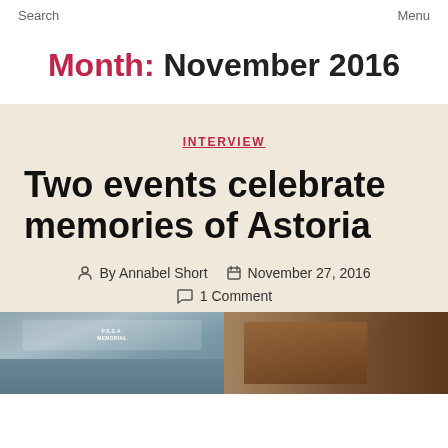Search   Menu
Month: November 2016
INTERVIEW
Two events celebrate memories of Astoria
By Annabel Short   November 27, 2016   1 Comment
[Figure (photo): Two photos side by side: left shows a building exterior with signage, right shows a wooden door or interior]